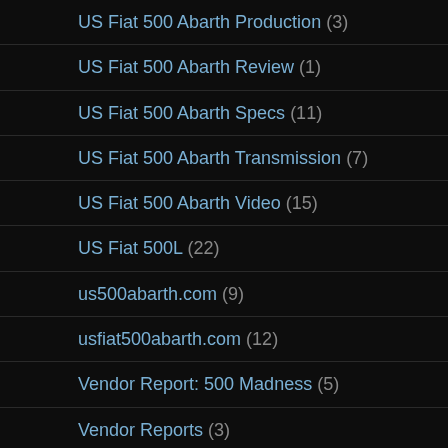US Fiat 500 Abarth Production (3)
US Fiat 500 Abarth Review (1)
US Fiat 500 Abarth Specs (11)
US Fiat 500 Abarth Transmission (7)
US Fiat 500 Abarth Video (15)
US Fiat 500L (22)
us500abarth.com (9)
usfiat500abarth.com (12)
Vendor Report: 500 Madness (5)
Vendor Reports (3)
Vendors (5)